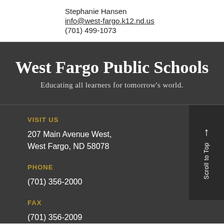Stephanie Hansen
info@west-fargo.k12.nd.us
(701) 499-1073
West Fargo Public Schools
Educating all learners for tomorrow's world.
VISIT US
207 Main Avenue West,
West Fargo, ND 58078
PHONE
(701) 356-2000
FAX
(701) 356-2009